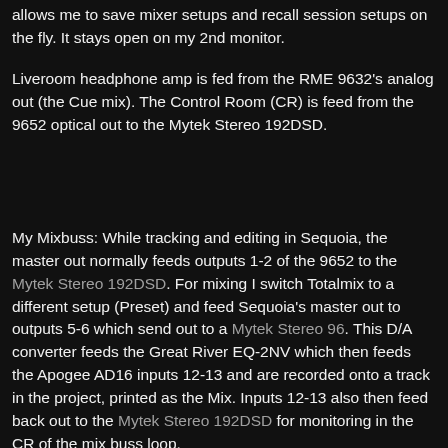allows me to save mixer setups and recall session setups on the fly. It stays open on my 2nd monitor.
Liveroom headphone amp is fed from the RME 9632's analog out (the Cue mix). The Control Room (CR) is feed from the 9652 optical out to the Mytek Stereo 192DSD.
My Mixbuss: While tracking and editing in Sequoia, the master out normally feeds outputs 1-2 of the 9652 to the Mytek Stereo 192DSD. For mixing I switch Totalmix to a different setup (Preset) and feed Sequoia's master out to outputs 5-6 which send out to a Mytek Stereo 96. This D/A converter feeds the Great River EQ-2NV which then feeds the Apogee AD16 inputs 12-13 and are recorded onto a track in the project, printed as the Mix. Inputs 12-13 also then feed back out to the Mytek Stereo 192DSD for monitoring in the CR of the mix buss loop.